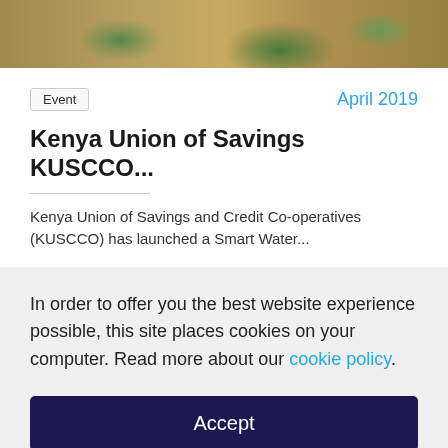[Figure (photo): Partial photo of crops or plants growing in soil/field, cropped at top of page]
Event
April 2019
Kenya Union of Savings KUSCCO...
Kenya Union of Savings and Credit Co-operatives (KUSCCO) has launched a Smart Water...
In order to offer you the best website experience possible, this site places cookies on your computer. Read more about our cookie policy.
Accept
Decline